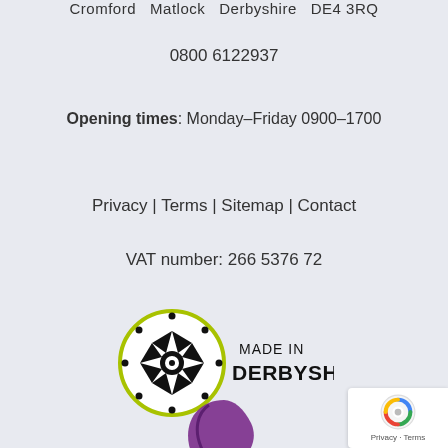Cromford   Matlock   Derbyshire   DE4 3RQ
0800 6122937
Opening times: Monday-Friday 0900-1700
Privacy | Terms | Sitemap | Contact
VAT number: 266 5376 72
[Figure (logo): Made in Derbyshire logo — circular badge with floral/geometric pattern and text 'MADE IN DERBYSHIRE']
[Figure (logo): Purple logo mark, partially visible — curved purple shape resembling a stylized letter or archer symbol]
[Figure (logo): reCAPTCHA badge with Google reCAPTCHA icon and 'Privacy - Terms' text]